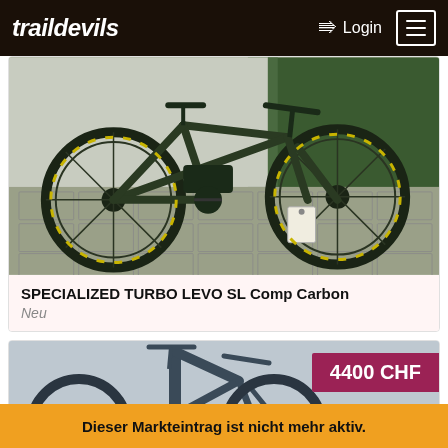traildevils  Login ☰
[Figure (photo): Dark green Specialized Turbo Levo SL Comp Carbon electric mountain bike parked on brick pavement with green hedge in background]
SPECIALIZED TURBO LEVO SL Comp Carbon
Neu
[Figure (photo): Partial view of a dark blue/grey mountain bike, showing front fork, wheel, and frame, with a price badge of 4400 CHF]
Dieser Markteintrag ist nicht mehr aktiv.